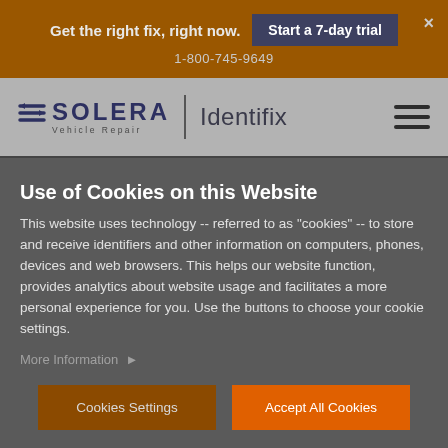Get the right fix, right now.  Start a 7-day trial  1-800-745-9649
[Figure (logo): Solera Vehicle Repair | Identifix logo with hamburger menu icon]
Use of Cookies on this Website
This website uses technology -- referred to as "cookies" -- to store and receive identifiers and other information on computers, phones, devices and web browsers. This helps our website function, provides analytics about website usage and facilitates a more personal experience for you. Use the buttons to choose your cookie settings.
More Information ▶
Cookies Settings  Accept All Cookies